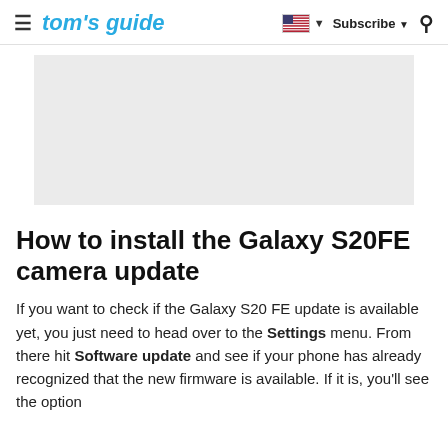≡  tom's guide  🇺🇸 ▼  Subscribe ▼  🔍
[Figure (other): Gray advertisement placeholder rectangle]
How to install the Galaxy S20FE camera update
If you want to check if the Galaxy S20 FE update is available yet, you just need to head over to the Settings menu. From there hit Software update and see if your phone has already recognized that the new firmware is available. If it is, you'll see the option